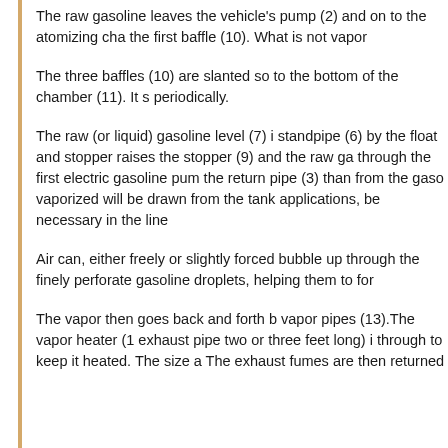The raw gasoline leaves the vehicle's pump (2) and on to the atomizing cha... the first baffle (10). What is not vapor...
The three baffles (10) are slanted so to the bottom of the chamber (11). It s... periodically.
The raw (or liquid) gasoline level (7) i... standpipe (6) by the float and stopper... raises the stopper (9) and the raw ga... through the first electric gasoline pur... the return pipe (3) than from the gaso... vaporized will be drawn from the tank... applications, be necessary in the line...
Air can, either freely or slightly forced... bubble up through the finely perforate... gasoline droplets, helping them to for...
The vapor then goes back and forth b... vapor pipes (13).The vapor heater (1... exhaust pipe two or three feet long) i... through to keep it heated. The size a... The exhaust fumes are then returned...